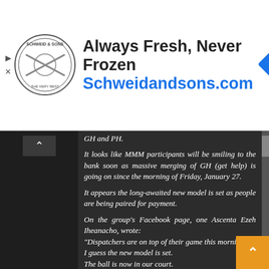[Figure (advertisement): Schweid & Sons logo with text 'Always Fresh, Never Frozen' and URL 'Schweidandsons.com', with a blue diamond navigation icon on the right]
GH and PH.

It looks like MMM participants will be smiling to the bank soon as massive merging of GH (get help) is going on since the morning of Friday, January 27.

It appears the long-awaited new model is set as people are being paired for payment.

On the group's Facebook page, one Ascenta Ezeh Iheanacho, wrote:
"Dispatchers are on top of their game this morning.
I guess the new model is set.
The ball is now in our court.